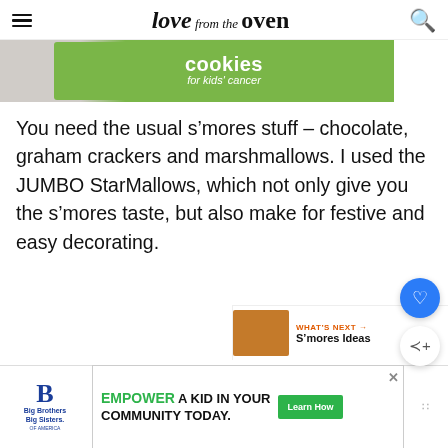love from the oven
[Figure (screenshot): Green advertisement banner for cookies for kids cancer charity]
You need the usual s’mores stuff – chocolate, graham crackers and marshmallows. I used the JUMBO StarMallows, which not only give you the s’mores taste, but also make for festive and easy decorating.
[Figure (screenshot): What's Next thumbnail with S'mores Ideas label]
[Figure (screenshot): Bottom advertisement: Big Brothers Big Sisters and Empower a Kid in Your Community Today with Learn How button]